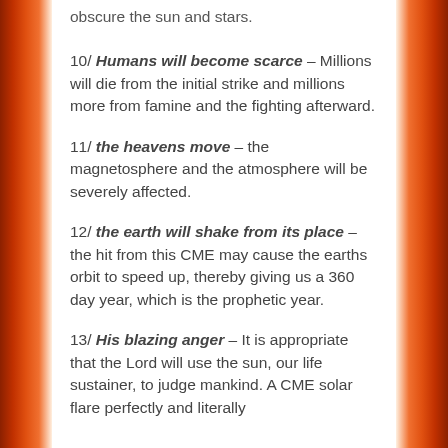obscure the sun and stars.
10/ Humans will become scarce – Millions will die from the initial strike and millions more from famine and the fighting afterward.
11/ the heavens move – the magnetosphere and the atmosphere will be severely affected.
12/ the earth will shake from its place – the hit from this CME may cause the earths orbit to speed up, thereby giving us a 360 day year, which is the prophetic year.
13/ His blazing anger – It is appropriate that the Lord will use the sun, our life sustainer, to judge mankind. A CME solar flare perfectly and literally